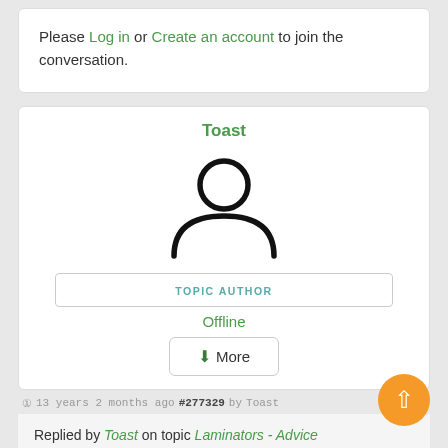Please Log in or Create an account to join the conversation.
Toast
[Figure (illustration): Generic user avatar icon — circle head above a half-circle body, black outline on white background]
TOPIC AUTHOR
Offline
More
13 years 2 months ago #277329 by Toast
Replied by Toast on topic Laminators - Advice Please